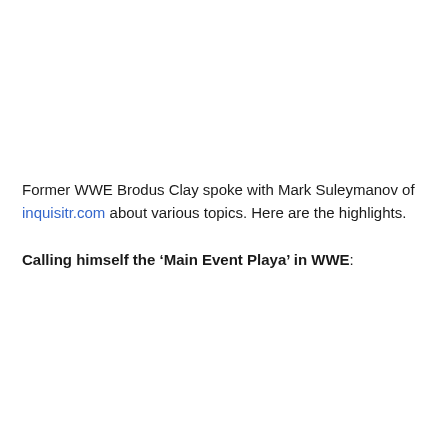Former WWE Brodus Clay spoke with Mark Suleymanov of inquisitr.com about various topics. Here are the highlights.
Calling himself the ‘Main Event Playa’ in WWE: